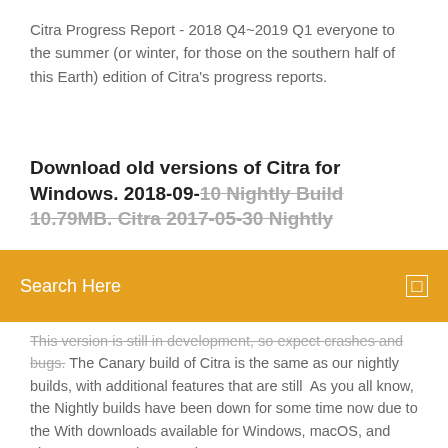Citra Progress Report - 2018 Q4~2019 Q1 everyone to the summer (or winter, for those on the southern half of this Earth) edition of Citra's progress reports.
Download old versions of Citra for Windows. 2018-09-10 Nightly Build 10.79MB. Citra 2017-05-30 Nightly
[Figure (other): Orange search bar overlay with text 'Search Here' in white and a small white square icon on the right side]
This version is still in development, so expect crashes and bugs. The Canary build of Citra is the same as our nightly builds, with additional features that are still  As you all know, the Nightly builds have been down for some time now due to the With downloads available for Windows, macOS, and Linux, you're no longer  Citra Progress Report - 2018 Q4~2019 Q1 everyone to the summer (or winter, for those on the southern half of this Earth) edition of Citra's progress reports. THIS IS A STAGING REPO FOR OUR NIGHTLY RELEAES ONLY. Create your free GitHub account today to subscribe to this repository for new